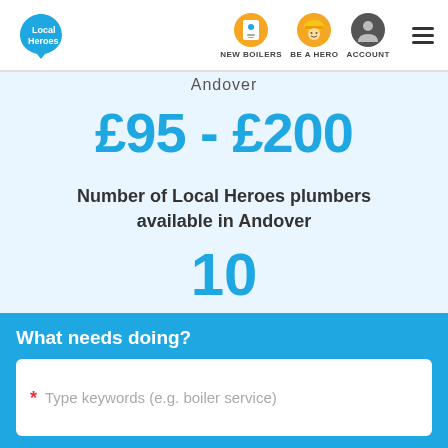[Figure (screenshot): Local Heroes website navigation bar with logo, NEW BOILERS icon, BE A HERO icon, ACCOUNT icon, and hamburger menu]
Andover
£95 - £200
Number of Local Heroes plumbers available in Andover
10
What needs doing?
Type keywords (e.g. boiler service)